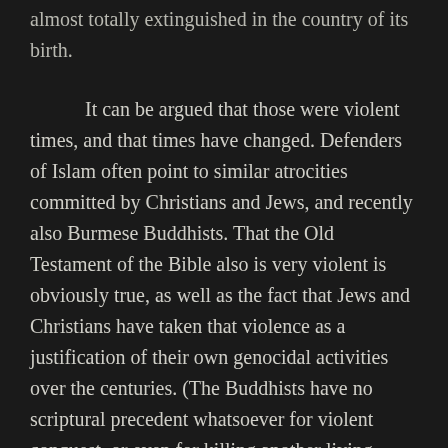almost totally extinguished in the country of its birth.
It can be argued that those were violent times, and that times have changed. Defenders of Islam often point to similar atrocities committed by Christians and Jews, and recently also Burmese Buddhists. That the Old Testament of the Bible also is very violent is obviously true, as well as the fact that Jews and Christians have taken that violence as a justification of their own genocidal activities over the centuries. (The Buddhists have no scriptural precedent whatsoever for violent conquest, or even for killing another living being, so by waging war they necessarily have to violate the tenets of their own religion as a kind of necessary evil, especially if